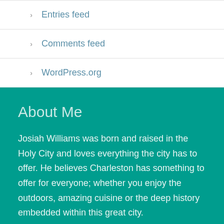Entries feed
Comments feed
WordPress.org
About Me
Josiah Williams was born and raised in the Holy City and loves everything the city has to offer. He believes Charleston has something to offer for everyone; whether you enjoy the outdoors, amazing cuisine or the deep history embedded within this great city.
Contact Info